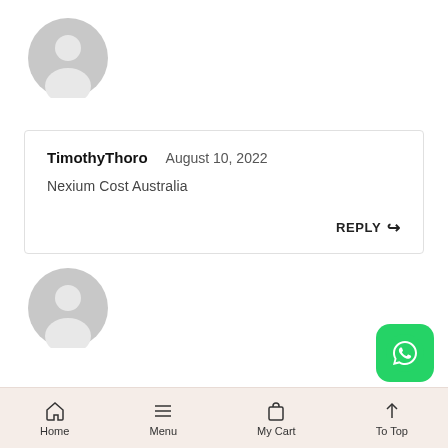[Figure (illustration): Generic user avatar circle icon, gray, top of page]
TimothyThoro   August 10, 2022
Nexium Cost Australia
REPLY
[Figure (illustration): Generic user avatar circle icon, gray, lower section]
[Figure (logo): WhatsApp green rounded square icon]
Home   Menu   My Cart   To Top